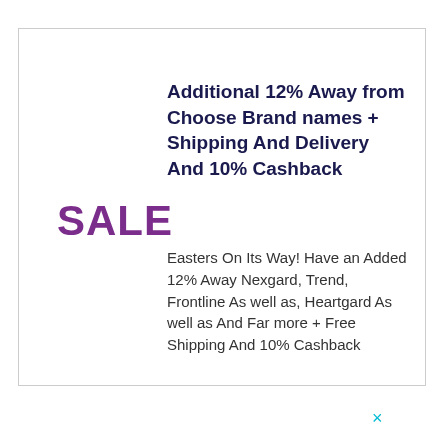Additional 12% Away from Choose Brand names + Shipping And Delivery And 10% Cashback
SALE
Easters On Its Way! Have an Added 12% Away Nexgard, Trend, Frontline As well as, Heartgard As well as And Far more + Free Shipping And 10% Cashback
×